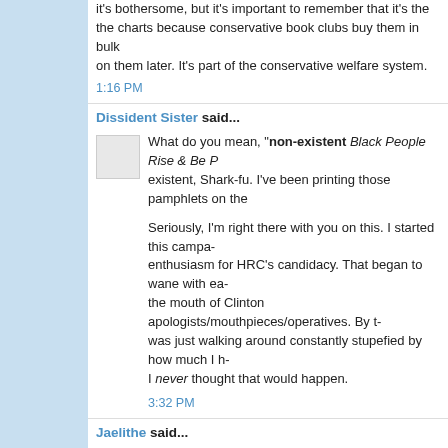it's bothersome, but it's important to remember that it's the charts because conservative book clubs buy them in bulk on them later. It's part of the conservative welfare system.
1:16 PM
Dissident Sister said...
What do you mean, "non-existent Black People Rise & Be P... existent, Shark-fu. I've been printing those pamphlets on the...
Seriously, I'm right there with you on this. I started this campa... enthusiasm for HRC's candidacy. That began to wane with ea... the mouth of Clinton apologists/mouthpieces/operatives. By t... was just walking around constantly stupefied by how much I h... I never thought that would happen.
3:32 PM
Jaelithe said...
I lost respect for the Clinton campaign for the same reasons,... strategy was clear as day to me.
And I'm a white* chick.
*(Well, mostly.)